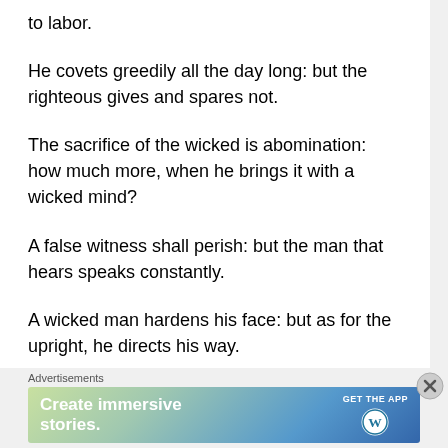to labor.
He covets greedily all the day long: but the righteous gives and spares not.
The sacrifice of the wicked is abomination: how much more, when he brings it with a wicked mind?
A false witness shall perish: but the man that hears speaks constantly.
A wicked man hardens his face: but as for the upright, he directs his way.
There is no wisdom nor understanding nor counsel against the LORD.
Advertisements
[Figure (other): WordPress app advertisement banner: 'Create immersive stories.' with GET THE APP button and WordPress logo]